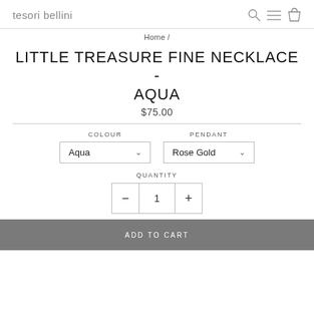tesori bellini
Home /
LITTLE TREASURE FINE NECKLACE - AQUA
$75.00
COLOUR
Aqua
PENDANT
Rose Gold
QUANTITY
- 1 +
ADD TO CART